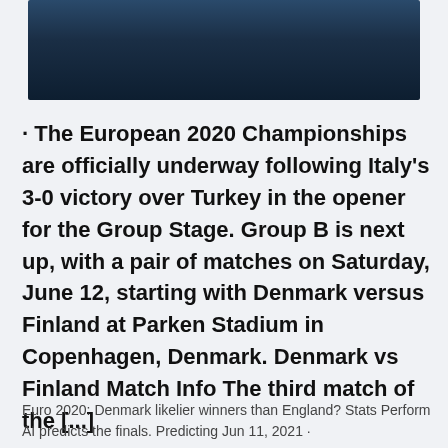[Figure (photo): Dark blue landscape photo, likely a night or dusk scene with dark blue tones]
· The European 2020 Championships are officially underway following Italy's 3-0 victory over Turkey in the opener for the Group Stage. Group B is next up, with a pair of matches on Saturday, June 12, starting with Denmark versus Finland at Parken Stadium in Copenhagen, Denmark. Denmark vs Finland Match Info The third match of the [...]
Euro 2020: Denmark likelier winners than England? Stats Perform AI predicts the finals. Predicting Jun 11, 2021 ·